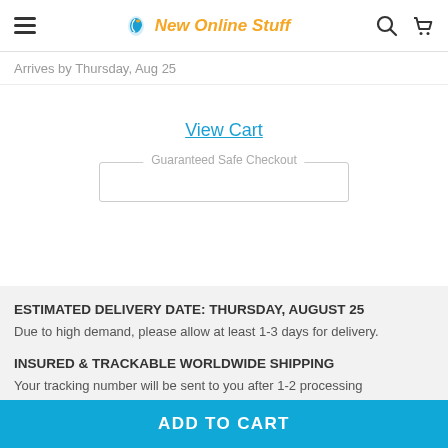New Online Stuff
Arrives by Thursday, Aug 25
View Cart
Guaranteed Safe Checkout
ESTIMATED DELIVERY DATE: THURSDAY, AUGUST 25
Due to high demand, please allow at least 1-3 days for delivery.
INSURED & TRACKABLE WORLDWIDE SHIPPING
Your tracking number will be sent to you after 1-2 processing
ADD TO CART